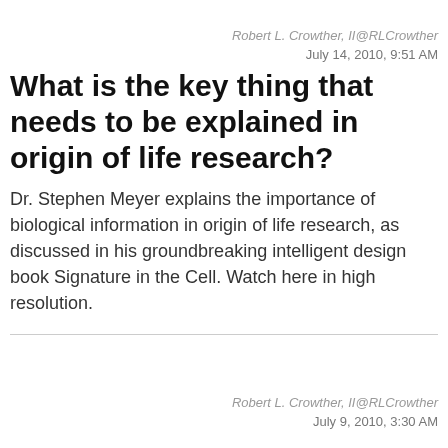Robert L. Crowther, II@RLCrowther
July 14, 2010, 9:51 AM
What is the key thing that needs to be explained in origin of life research?
Dr. Stephen Meyer explains the importance of biological information in origin of life research, as discussed in his groundbreaking intelligent design book Signature in the Cell. Watch here in high resolution.
Robert L. Crowther, II@RLCrowther
July 9, 2010, 3:30 AM